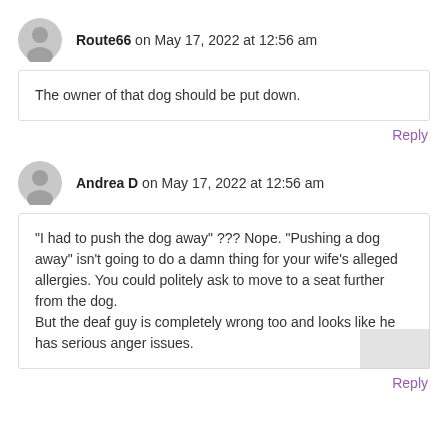Route66 on May 17, 2022 at 12:56 am
The owner of that dog should be put down.
Reply
Andrea D on May 17, 2022 at 12:56 am
"I had to push the dog away" ??? Nope. "Pushing a dog away" isn't going to do a damn thing for your wife's alleged allergies. You could politely ask to move to a seat further from the dog.
But the deaf guy is completely wrong too and looks like he has serious anger issues.
Reply